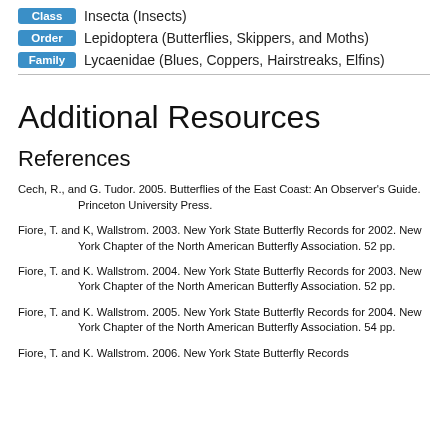Class Insecta (Insects)
Order Lepidoptera (Butterflies, Skippers, and Moths)
Family Lycaenidae (Blues, Coppers, Hairstreaks, Elfins)
Additional Resources
References
Cech, R., and G. Tudor. 2005. Butterflies of the East Coast: An Observer's Guide. Princeton University Press.
Fiore, T. and K, Wallstrom. 2003. New York State Butterfly Records for 2002. New York Chapter of the North American Butterfly Association. 52 pp.
Fiore, T. and K. Wallstrom. 2004. New York State Butterfly Records for 2003. New York Chapter of the North American Butterfly Association. 52 pp.
Fiore, T. and K. Wallstrom. 2005. New York State Butterfly Records for 2004. New York Chapter of the North American Butterfly Association. 54 pp.
Fiore, T. and K. Wallstrom. 2006. New York State Butterfly Records